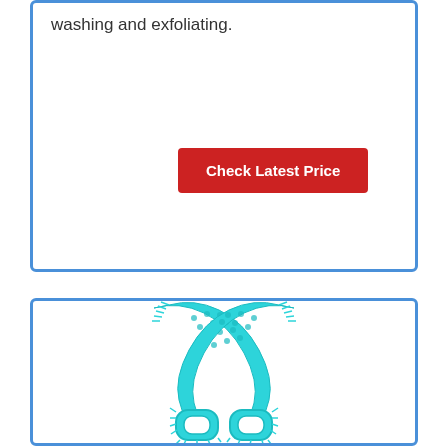washing and exfoliating.
Check Latest Price
[Figure (photo): A teal/cyan silicone back scrubber strap with textured dots on one side and handle loops at the bottom, crossed over itself]